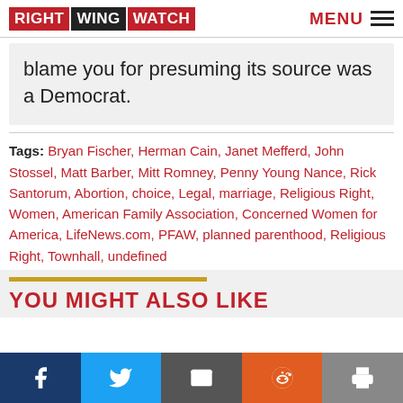RIGHT WING WATCH | MENU
blame you for presuming its source was a Democrat.
Tags: Bryan Fischer, Herman Cain, Janet Mefferd, John Stossel, Matt Barber, Mitt Romney, Penny Young Nance, Rick Santorum, Abortion, choice, Legal, marriage, Religious Right, Women, American Family Association, Concerned Women for America, LifeNews.com, PFAW, planned parenthood, Religious Right, Townhall, undefined
YOU MIGHT ALSO LIKE